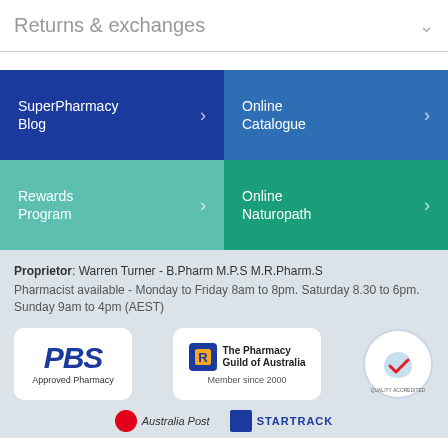Returns & exchanges
SuperPharmacy Blog
Online Catalogue
Rewards Program
Online Naturopath
Proprietor: Warren Turner - B.Pharm M.P.S M.R.Pharm.S
Pharmacist available - Monday to Friday 8am to 8pm. Saturday 8.30 to 6pm. Sunday 9am to 4pm (AEST)
[Figure (logo): PBS Approved Pharmacy logo]
[Figure (logo): The Pharmacy Guild of Australia - Member since 2000 logo]
[Figure (logo): Quality Care Pharmacy - Service Quality Accredited logo]
[Figure (logo): Australia Post logo (partially visible)]
[Figure (logo): StarTrack logo (partially visible)]